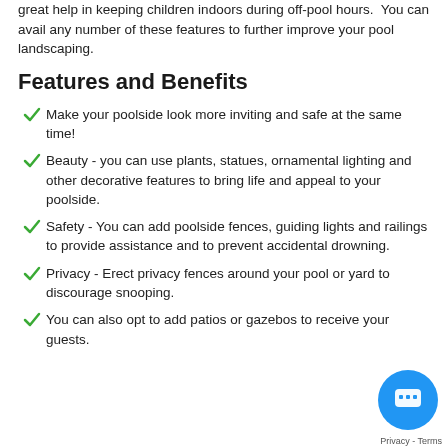great help in keeping children indoors during off-pool hours.  You can avail any number of these features to further improve your pool landscaping.
Features and Benefits
Make your poolside look more inviting and safe at the same time!
Beauty - you can use plants, statues, ornamental lighting and other decorative features to bring life and appeal to your poolside.
Safety - You can add poolside fences, guiding lights and railings to provide assistance and to prevent accidental drowning.
Privacy - Erect privacy fences around your pool or yard to discourage snooping.
You can also opt to add patios or gazebos to receive your guests.